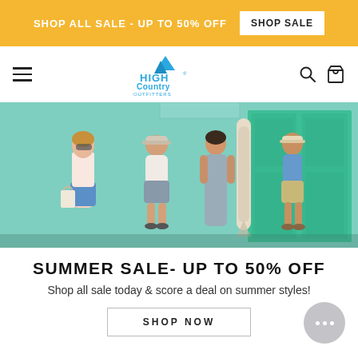SHOP ALL SALE - UP TO 50% OFF  SHOP SALE
[Figure (logo): High Country Outfitters logo in blue]
[Figure (photo): Four young people in casual summer clothes standing in front of a mint green wall, one holding a surfboard]
SUMMER SALE- UP TO 50% OFF
Shop all sale today & score a deal on summer styles!
SHOP NOW